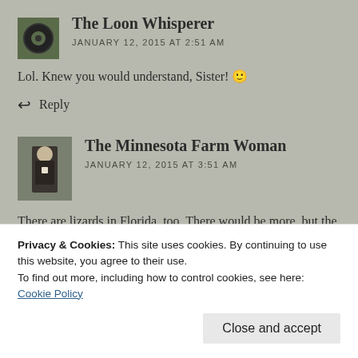[Figure (photo): Small circular/square avatar image of The Loon Whisperer showing a dark tire or circular object against greenery]
The Loon Whisperer
JANUARY 12, 2015 AT 2:51 AM
Lol. Knew you would understand, Sister! 🙂
↩ Reply
[Figure (photo): Avatar image of The Minnesota Farm Woman showing a person in dark clothing standing outdoors]
The Minnesota Farm Woman
JANUARY 12, 2015 AT 3:51 AM
There are lizards in Florida, too. There would be more, but the snakes chase them away.
Privacy & Cookies: This site uses cookies. By continuing to use this website, you agree to their use.
To find out more, including how to control cookies, see here: Cookie Policy
Close and accept